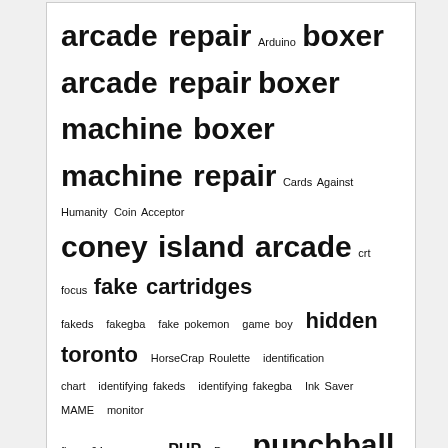arcade repair Arduino boxer arcade repair boxer machine boxer machine repair Cards Against Humanity Coin Acceptor coney island arcade crt focus fake cartridges fakeds fakegba fake pokemon game boy hidden toronto HorseCrap Roulette identification chart identifying fakeds identifying fakegba Ink Saver MAME monitor fix n64 pacman PHP Poop punchball machine Recca reproductions repros security bits security screws Server to Server File Transfer simpsons bowling Test Post time capsule repair ttc Universal Game Cases urban exploration Utility Scripts